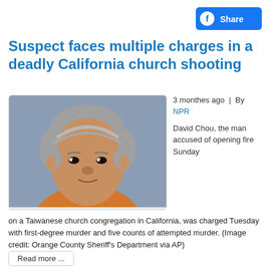[Figure (other): Facebook Share button with blue background and white text]
Suspect faces multiple charges in a deadly California church shooting
[Figure (photo): Mugshot of David Chou, an older Asian man with gray hair wearing an orange shirt, against a gray background]
3 monthes ago | By NPR
David Chou, the man accused of opening fire Sunday on a Taiwanese church congregation in California, was charged Tuesday with first-degree murder and five counts of attempted murder. (Image credit: Orange County Sheriff's Department via AP)
Read more ...